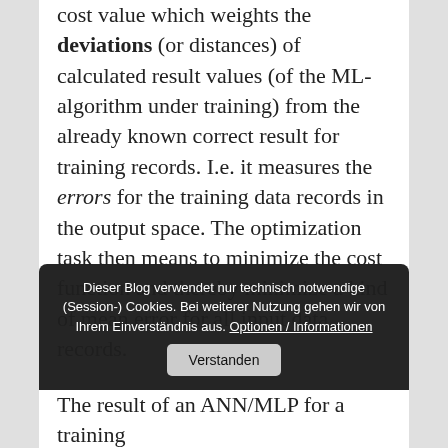cost value which weights the deviations (or distances) of calculated result values (of the ML-algorithm under training) from the already known correct result for training records. I.e. it measures the errors for the training data records in the output space. The optimization task then means to minimize the cost function and thereby minimize a kind of mean error for all input data records. The hope is that the collection of resulting weight values allows for
Dieser Blog verwendet nur technisch notwendige (Session-) Cookies. Bei weiterer Nutzung gehen wir von Ihrem Einverständnis aus. Optionen / Informationen    Verstanden
The result of an ANN/MLP for a training